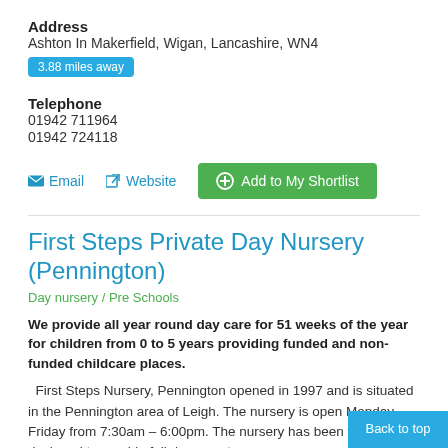Address
Ashton In Makerfield, Wigan, Lancashire, WN4
3.88 miles away
Telephone
01942 711964
01942 724118
Email  Website  Add to My Shortlist
First Steps Private Day Nursery (Pennington)
Day nursery / Pre Schools
We provide all year round day care for 51 weeks of the year for children from 0 to 5 years providing funded and non-funded childcare places.
First Steps Nursery, Pennington opened in 1997 and is situated in the Pennington area of Leigh. The nursery is open Monday – Friday from 7:30am – 6:00pm. The nursery has been thoughtfully designed to provide full day care for babies and young children, offering safe...